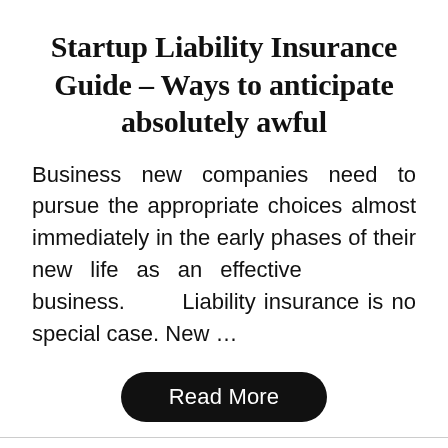Startup Liability Insurance Guide – Ways to anticipate absolutely awful
Business new companies need to pursue the appropriate choices almost immediately in the early phases of their new life as an effective business. Liability insurance is no special case. New …
Read More